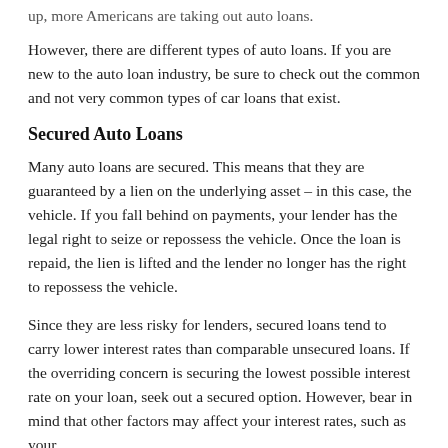up, more Americans are taking out auto loans.
However, there are different types of auto loans. If you are new to the auto loan industry, be sure to check out the common and not very common types of car loans that exist.
Secured Auto Loans
Many auto loans are secured. This means that they are guaranteed by a lien on the underlying asset – in this case, the vehicle. If you fall behind on payments, your lender has the legal right to seize or repossess the vehicle. Once the loan is repaid, the lien is lifted and the lender no longer has the right to repossess the vehicle.
Since they are less risky for lenders, secured loans tend to carry lower interest rates than comparable unsecured loans. If the overriding concern is securing the lowest possible interest rate on your loan, seek out a secured option. However, bear in mind that other factors may affect your interest rates, such as your